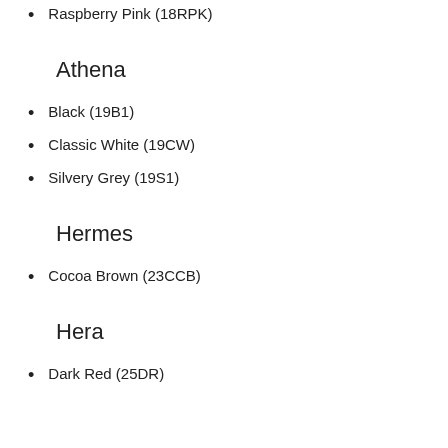Raspberry Pink (18RPK)
Athena
Black (19B1)
Classic White (19CW)
Silvery Grey (19S1)
Hermes
Cocoa Brown (23CCB)
Hera
Dark Red (25DR)